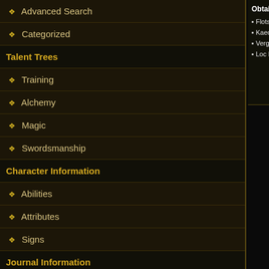Advanced Search
Categorized
Talent Trees
Training
Alchemy
Magic
Swordsmanship
Character Information
Abilities
Attributes
Signs
Journal Information
Characters
Glossary
Locations
Monsters
Articles
Obtained:
• Flotsam - Found on thug corpses
• Kaedwen (Battlefield) - Found on Erwin's corpse
• Vergen (Wilderness Near Catacombs) - Found on H...
• Loc Muinne - Found on Felix's corpse